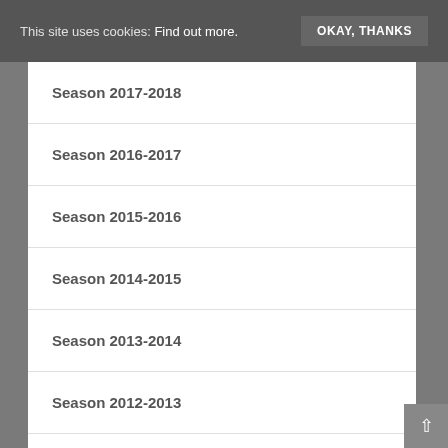This site uses cookies: Find out more. OKAY, THANKS
Season 2017-2018
Season 2016-2017
Season 2015-2016
Season 2014-2015
Season 2013-2014
Season 2012-2013
Season 2011-2012
Season 2010-2011